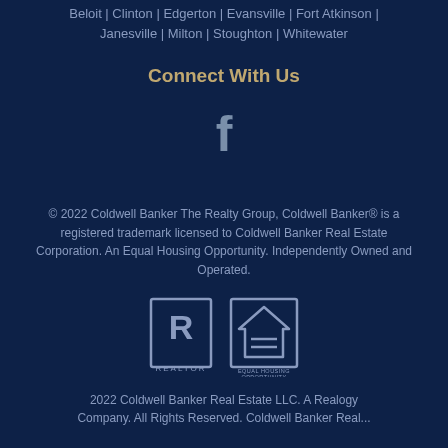Beloit | Clinton | Edgerton | Evansville | Fort Atkinson | Janesville | Milton | Stoughton | Whitewater
Connect With Us
[Figure (logo): Facebook logo icon (letter f)]
© 2022 Coldwell Banker The Realty Group, Coldwell Banker® is a registered trademark licensed to Coldwell Banker Real Estate Corporation. An Equal Housing Opportunity. Independently Owned and Operated.
[Figure (logo): Realtor logo and Equal Housing Opportunity logo icons]
2022 Coldwell Banker Real Estate LLC. A Realogy Company. All Rights Reserved. Coldwell Banker Real...